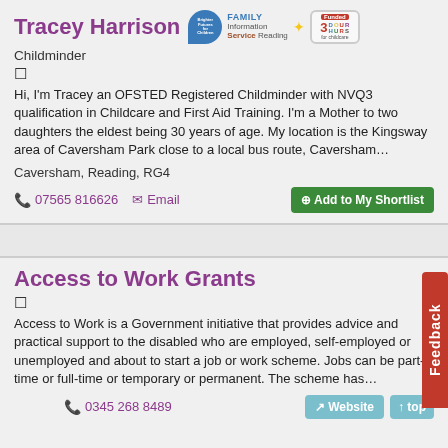Tracey Harrison
[Figure (logo): Family Information Service Reading logo with Brighter Futures for Children bubble and Funded 3D Hours badge]
Childminder
Hi, I'm Tracey an OFSTED Registered Childminder with NVQ3 qualification in Childcare and First Aid Training. I'm a Mother to two daughters the eldest being 30 years of age. My location is the Kingsway area of Caversham Park close to a local bus route, Caversham…
Caversham, Reading, RG4
07565 816626
Email
Add to My Shortlist
Access to Work Grants
Access to Work is a Government initiative that provides advice and practical support to the disabled who are employed, self-employed or unemployed and about to start a job or work scheme. Jobs can be part-time or full-time or temporary or permanent. The scheme has…
0345 268 8489
Website
top